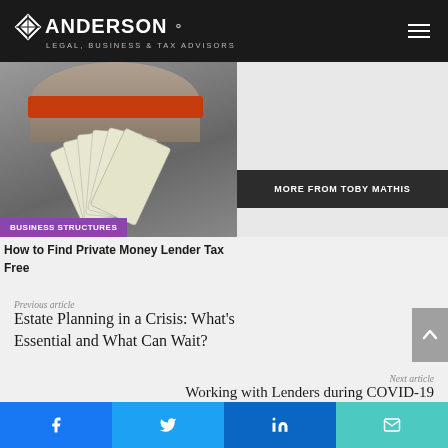ANDERSON LEGAL, BUSINESS & TAX ADVISORS
[Figure (photo): Person holding fan of money/cards with sunglasses, partially visible from shoulders up, on gray background]
BUSINESS STRUCTURES
MORE FROM TOBY MATHIS
How to Find Private Money Lender Tax Free
Previous article
Estate Planning in a Crisis: What's Essential and What Can Wait?
Next article
Working with Lenders during COVID-19